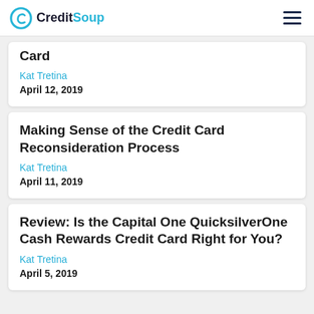CreditSoup
Card
Kat Tretina
April 12, 2019
Making Sense of the Credit Card Reconsideration Process
Kat Tretina
April 11, 2019
Review: Is the Capital One QuicksilverOne Cash Rewards Credit Card Right for You?
Kat Tretina
April 5, 2019